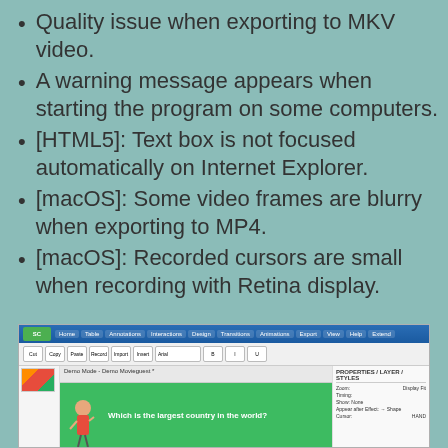Quality issue when exporting to MKV video.
A warning message appears when starting the program on some computers.
[HTML5]: Text box is not focused automatically on Internet Explorer.
[macOS]: Some video frames are blurry when exporting to MP4.
[macOS]: Recorded cursors are small when recording with Retina display.
[Figure (screenshot): Screenshot of a software application (likely ActivePresenter or similar e-learning/screen recording tool) showing a ribbon menu interface at the top with tabs including Home, Table, Annotations, Interactions, Design, Transitions, Animations, Export, View, Help, Extend. The main canvas area shows a green slide with a cartoon character pointing to the question 'Which is the largest country in the world?' A panel on the right shows properties including Zoom, Timing, Cursor settings.]